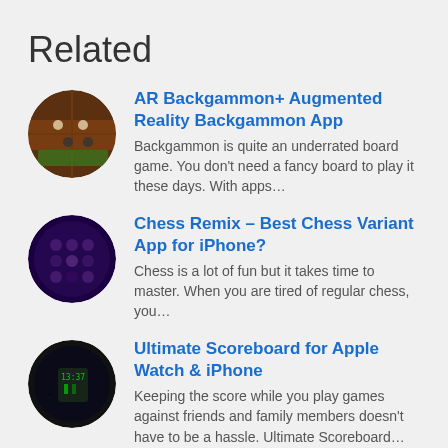Related
AR Backgammon+ Augmented Reality Backgammon App
Backgammon is quite an underrated board game. You don’t need a fancy board to play it these days. With apps…
Chess Remix – Best Chess Variant App for iPhone?
Chess is a lot of fun but it takes time to master. When you are tired of regular chess, you…
Ultimate Scoreboard for Apple Watch & iPhone
Keeping the score while you play games against friends and family members doesn’t have to be a hassle. Ultimate Scoreboard…